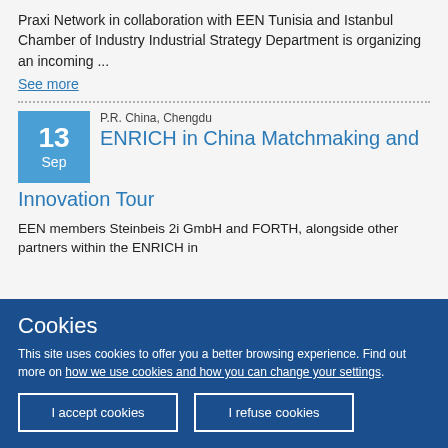Praxi Network in collaboration with EEN Tunisia and Istanbul Chamber of Industry Industrial Strategy Department is organizing an incoming ...
See more
[Figure (infographic): Date box showing 13 Sep in blue, with event location P.R. China, Chengdu and event title ENRICH in China Matchmaking and Innovation Tour]
EEN members Steinbeis 2i GmbH and FORTH, alongside other partners within the ENRICH in
Cookies
This site uses cookies to offer you a better browsing experience. Find out more on how we use cookies and how you can change your settings.
I accept cookies
I refuse cookies